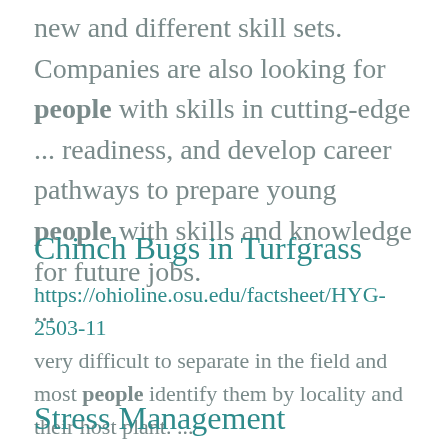new and different skill sets.  Companies are also looking for people with skills in cutting-edge ... readiness, and develop career pathways to prepare young people with skills and knowledge for future jobs. ...
Chinch Bugs in Turfgrass
https://ohioline.osu.edu/factsheet/HYG-2503-11 very difficult to separate in the field and most people identify them by locality and their host plant. ...
Stress Management